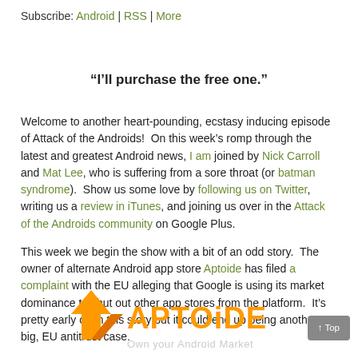Subscribe: Android | RSS | More
“I’ll purchase the free one.”
Welcome to another heart-pounding, ecstasy inducing episode of Attack of the Androids!  On this week’s romp through the latest and greatest Android news, I am joined by Nick Carroll and Mat Lee, who is suffering from a sore throat (or batman syndrome).  Show us some love by following us on Twitter, writing us a review in iTunes, and joining us over in the Attack of the Androids community on Google Plus.
This week we begin the show with a bit of an odd story.  The owner of alternate Android app store Aptoide has filed a complaint with the EU alleging that Google is using its market dominance to shut out other app stores from the platform.  It’s pretty early on in this story but it could end up being another big, EU antitrust case.
[Figure (logo): Aptoide logo with orange arrow icon and text 'APTOIDE Own your Android Market']